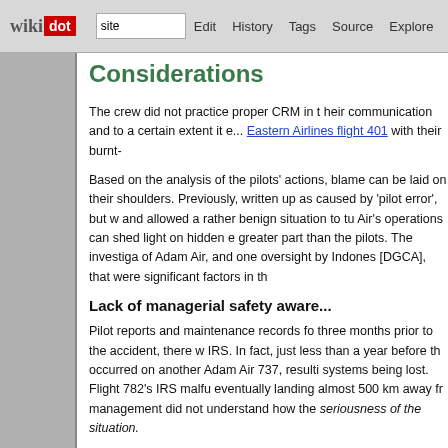wikidot | site | Edit | History | Tags | Source | Explore | Share on [Twitter]
Considerations
The crew did not practice proper CRM in their communication and to a certain extent it echoes Eastern Airlines flight 401 with their burnt-
Based on the analysis of the pilots' actions, blame can be laid on their shoulders. Previously, it was written up as caused by 'pilot error', but w... and allowed a rather benign situation to tu... Air's operations can shed light on hidden e... greater part than the pilots. The investiga... of Adam Air, and one oversight by Indones... [DGCA], that were significant factors in th...
Lack of managerial safety aware...
Pilot reports and maintenance records fo... three months prior to the accident, there w... IRS. In fact, just less than a year before th... occurred on another Adam Air 737, resulti... systems being lost. Flight 782's IRS malfu... eventually landing almost 500 km away fr... management did not understand how the... seriousness of the situation.